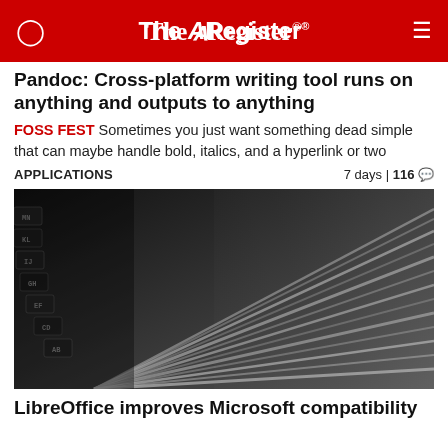The Register
Pandoc: Cross-platform writing tool runs on anything and outputs to anything
FOSS FEST Sometimes you just want something dead simple that can maybe handle bold, italics, and a hyperlink or two
APPLICATIONS   7 days | 116 💬
[Figure (photo): Close-up black and white photograph of typewriter keys/typebars arranged in diagonal rows, showing the metal type letters and mechanical arms of a vintage typewriter]
LibreOffice improves Microsoft compatibility